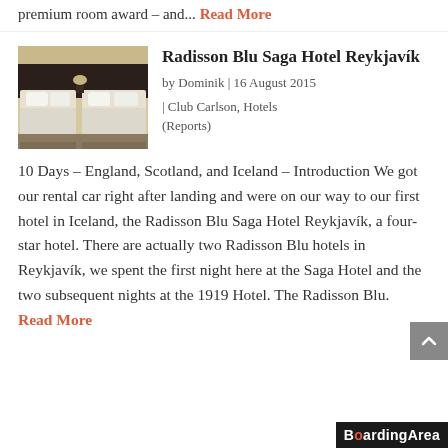premium room award – and... Read More
Radisson Blu Saga Hotel Reykjavík
by Dominik | 16 August 2015 | Club Carlson, Hotels (Reports)
[Figure (photo): Hotel room with two single beds with white linens and dark headboard]
10 Days – England, Scotland, and Iceland – Introduction We got our rental car right after landing and were on our way to our first hotel in Iceland, the Radisson Blu Saga Hotel Reykjavík, a four-star hotel. There are actually two Radisson Blu hotels in Reykjavík, we spent the first night here at the Saga Hotel and the two subsequent nights at the 1919 Hotel. The Radisson Blu. Read More